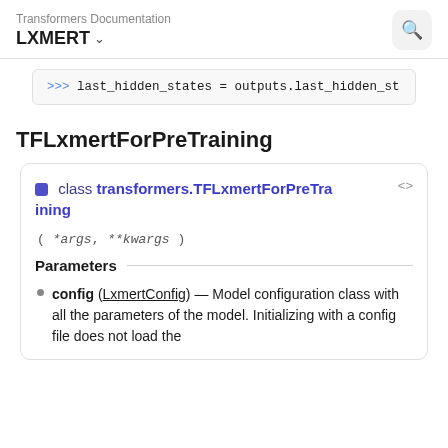Transformers Documentation LXMERT
>>> last_hidden_states = outputs.last_hidden_st
TFLxmertForPreTraining
class transformers.TFLxmertForPreTraining ( *args, **kwargs )
Parameters
config (LxmertConfig) — Model configuration class with all the parameters of the model. Initializing with a config file does not load the